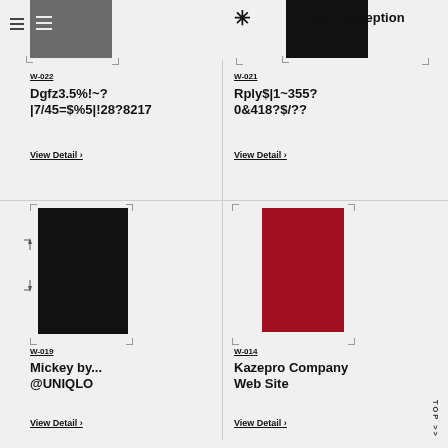[Figure (screenshot): Gray rectangle thumbnail with hamburger menu icon - top left card image for W-022]
W-022
Dgfz3.5%!~?
|7/45=$%5|!28?8217
View Detail >
[Figure (screenshot): Black rectangle thumbnail with asterisk icon and text 'ept Conception' - top right card image for W-021]
W-021
Rply$|1~355?
0&418?$/??
View Detail >
[Figure (illustration): Large black rectangle with dimension/measurement lines on left side - bottom left card image for W-019]
W-019
Mickey by...
@UNIQLO
View Detail >
[Figure (illustration): Large dark red/crimson rectangle - bottom right card image for W-014]
W-014
Kazepro Company
Web Site
View Detail >
TOP >>